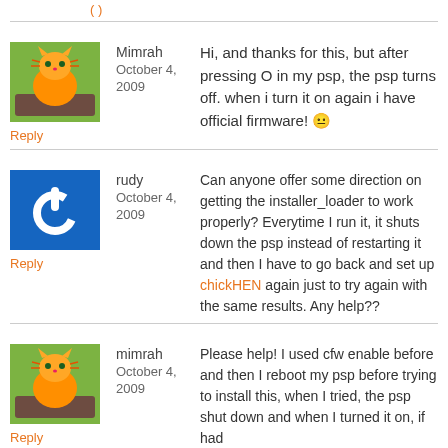(?)
Mimrah October 4, 2009 — Hi, and thanks for this, but after pressing O in my psp, the psp turns off. when i turn it on again i have official firmware! 😐 Reply
rudy October 4, 2009 — Can anyone offer some direction on getting the installer_loader to work properly? Everytime I run it, it shuts down the psp instead of restarting it and then I have to go back and set up chickHEN again just to try again with the same results. Any help?? Reply
mimrah October 4, 2009 — Please help! I used cfw enable before and then I reboot my psp before trying to install this, when I tried, the psp shut down and when I turned it on, if had Reply